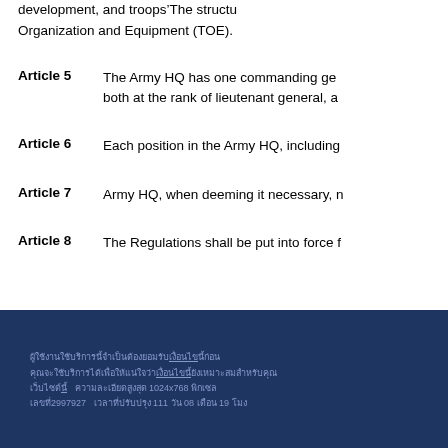development, and troops’The structure Organization and Equipment (TOE).
Article 5   The Army HQ has one commanding ge… both at the rank of lieutenant general, a…
Article 6   Each position in the Army HQ, including…
Article 7   Army HQ, when deeming it necessary, n…
Article 8   The Regulations shall be put into force f…
ผู้ใช้งานใช้บริการนี้จำเป็นต้องยอมรับเงื่อนไข และเงื่อนไขนี้จะมีผลบังคับใช้นาน เท่านั้น